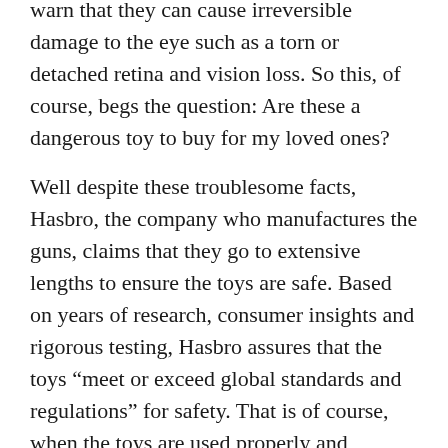warn that they can cause irreversible damage to the eye such as a torn or detached retina and vision loss. So this, of course, begs the question: Are these a dangerous toy to buy for my loved ones?
Well despite these troublesome facts, Hasbro, the company who manufactures the guns, claims that they go to extensive lengths to ensure the toys are safe. Based on years of research, consumer insights and rigorous testing, Hasbro assures that the toys “meet or exceed global standards and regulations” for safety. That is of course, when the toys are used properly and according to the recommended guidelines.
So if, when used according to the guidelines, Nerf guns are not inherently dangerous, it is up to the parent’s discretion to assess whether they are a good choice for their family. Parents (or users of any age) need to establish proper rules and ensure that those using the guns are responsible and to follow the rules. They should also let the guns…